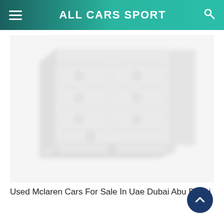ALL CARS SPORT
[Figure (photo): A blurry/faded image of a white wooden chest of drawers with multiple drawers and round ring handles, shown at a three-quarter angle against a white background.]
Used Mclaren Cars For Sale In Uae Dubai Abu Dhabi